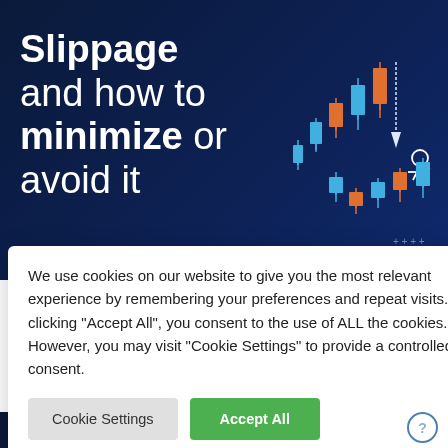Slippage and how to minimize or avoid it
[Figure (illustration): Candlestick chart illustration with blue and orange candles, a falling figure, on dark blue background]
We use cookies on our website to give you the most relevant experience by remembering your preferences and repeat visits. By clicking "Accept All", you consent to the use of ALL the cookies. However, you may visit "Cookie Settings" to provide a controlled consent.
[Figure (line-chart): Line chart with green, red, and light blue curved lines on dark blue background]